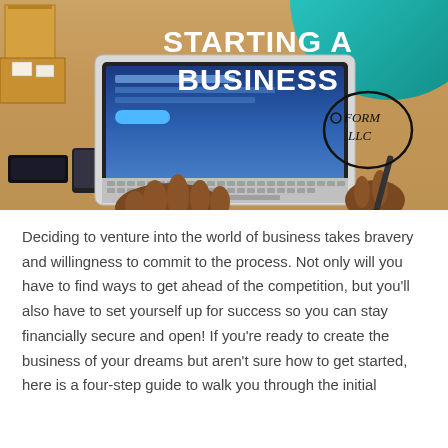[Figure (photo): Overhead photo of a person typing on a laptop on a wooden table with shipping boxes, an ink pad, and handwritten 'FORM LLC' in a circle on paper. Text overlay reads 'STARTING A BUSINESS' in bold white letters with a teal circular background.]
Deciding to venture into the world of business takes bravery and willingness to commit to the process. Not only will you have to find ways to get ahead of the competition, but you'll also have to set yourself up for success so you can stay financially secure and open! If you're ready to create the business of your dreams but aren't sure how to get started, here is a four-step guide to walk you through the initial